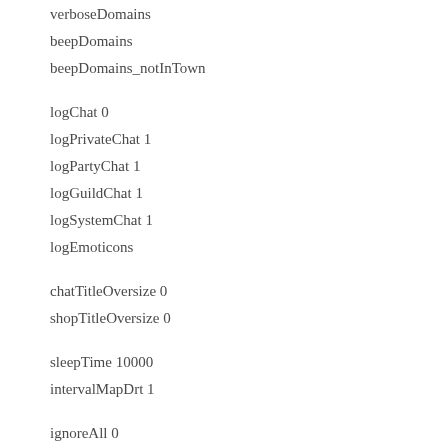verboseDomains
beepDomains
beepDomains_notInTown
logChat 0
logPrivateChat 1
logPartyChat 1
logGuildChat 1
logSystemChat 1
logEmoticons
chatTitleOversize 0
shopTitleOversize 0
sleepTime 10000
intervalMapDrt 1
ignoreAll 0
itemHistory 0
autoTalkCont 1
noAutoSkill 0
portalRecord 2
missDamage 0
tankersList